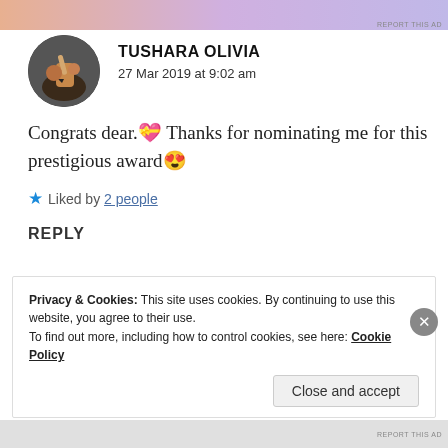[Figure (photo): Screenshot of a blog comment by Tushara Olivia with avatar, date, comment text with emojis, like button, reply label, and cookie consent banner.]
TUSHARA OLIVIA
27 Mar 2019 at 9:02 am
Congrats dear.💝 Thanks for nominating me for this prestigious award😍
★ Liked by 2 people
REPLY
Privacy & Cookies: This site uses cookies. By continuing to use this website, you agree to their use.
To find out more, including how to control cookies, see here: Cookie Policy
Close and accept